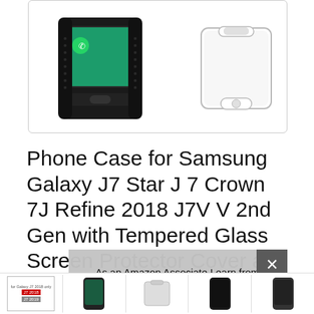[Figure (photo): Product image showing a black rugged phone case for Samsung Galaxy J7 on the left and a clear tempered glass screen protector on the right, inside a rounded-corner box]
Phone Case for Samsung Galaxy J7 Star J 7 Crown 7J Refine 2018 J7V V 2nd Gen with Tempered Glass Screen Protector Cover and Rugged Hybrid Cell Accessories Glaxay Aura S767VL SM-J737V Cases Man Black
#ad
As an Amazon Associate I earn from qualifying purchases. This website uses the only necessary cookies to ensure you get the best experience on our website. More information
[Figure (photo): Row of thumbnail product images at the bottom of the page]